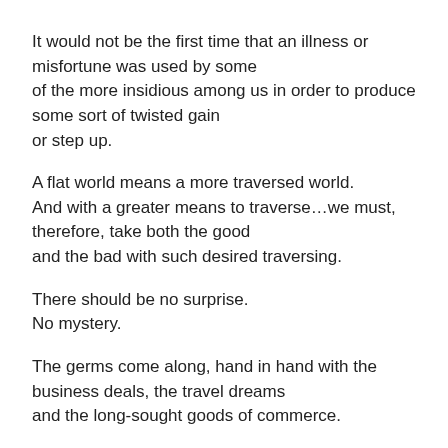It would not be the first time that an illness or misfortune was used by some of the more insidious among us in order to produce some sort of twisted gain or step up.
A flat world means a more traversed world. And with a greater means to traverse…we must, therefore, take both the good and the bad with such desired traversing.
There should be no surprise. No mystery.
The germs come along, hand in hand with the business deals, the travel dreams and the long-sought goods of commerce.